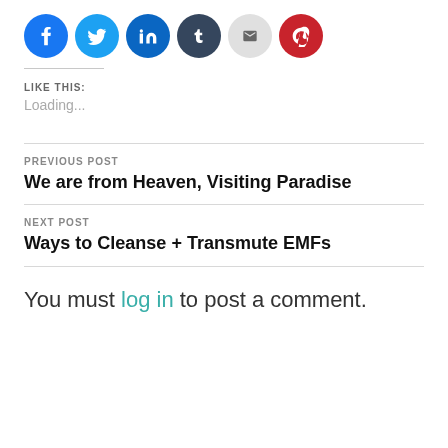[Figure (other): Social sharing buttons: Facebook (blue), Twitter (light blue), LinkedIn (dark blue), Tumblr (dark slate), Email (gray), Pinterest (red)]
LIKE THIS:
Loading...
PREVIOUS POST
We are from Heaven, Visiting Paradise
NEXT POST
Ways to Cleanse + Transmute EMFs
You must log in to post a comment.